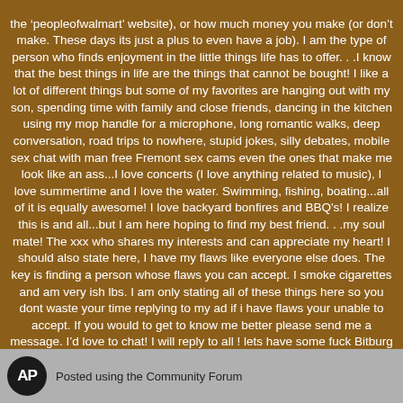the 'peopleofwalmart' website), or how much money you make (or don't make. These days its just a plus to even have a job). I am the type of person who finds enjoyment in the little things life has to offer. . .I know that the best things in life are the things that cannot be bought! I like a lot of different things but some of my favorites are hanging out with my son, spending time with family and close friends, dancing in the kitchen using my mop handle for a microphone, long romantic walks, deep conversation, road trips to nowhere, stupid jokes, silly debates, mobile sex chat with man free Fremont sex cams even the ones that make me look like an ass...I love concerts (I love anything related to music), I love summertime and I love the water. Swimming, fishing, boating...all of it is equally awesome! I love backyard bonfires and BBQ's! I realize this is and all...but I am here hoping to find my best friend. . .my soul mate! The xxx who shares my interests and can appreciate my heart! I should also state here, I have my flaws like everyone else does. The key is finding a person whose flaws you can accept. I smoke cigarettes and am very ish lbs. I am only stating all of these things here so you dont waste your time replying to my ad if i have flaws your unable to accept. If you would to get to know me better please send me a message. I'd love to chat! I will reply to all ! lets have some fuck Bitburg fun tonight Black women nude is coming.
AP  Posted using the Community Forum